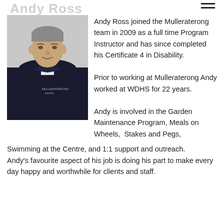Andy Ross
[Figure (photo): Headshot photo of Andy Ross, a middle-aged man wearing a dark navy Mulleraterong jacket, smiling at the camera against a light background.]
Andy Ross joined the Mulleraterong team in 2009 as a full time Program Instructor and has since completed his Certificate 4 in Disability. Prior to working at Mulleraterong Andy worked at WDHS for 22 years. Andy is involved in the Garden Maintenance Program, Meals on Wheels,  Stakes and Pegs, Swimming at the Centre, and 1:1 support and outreach. Andy's favourite aspect of his job is doing his part to make every day happy and worthwhile for clients and staff.